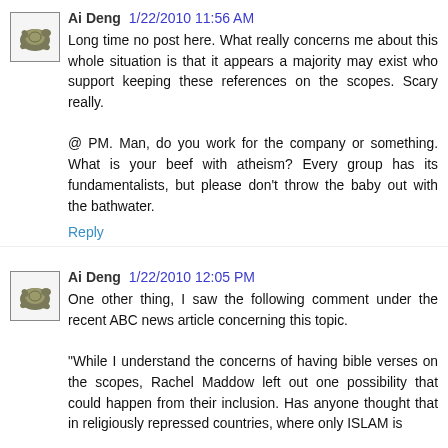Ai Deng  1/22/2010 11:56 AM
Long time no post here. What really concerns me about this whole situation is that it appears a majority may exist who support keeping these references on the scopes. Scary really.

@ PM. Man, do you work for the company or something. What is your beef with atheism? Every group has its fundamentalists, but please don't throw the baby out with the bathwater.
Reply
Ai Deng  1/22/2010 12:05 PM
One other thing, I saw the following comment under the recent ABC news article concerning this topic.

"While I understand the concerns of having bible verses on the scopes, Rachel Maddow left out one possibility that could happen from their inclusion. Has anyone thought that in religiously repressed countries, where only ISLAM is